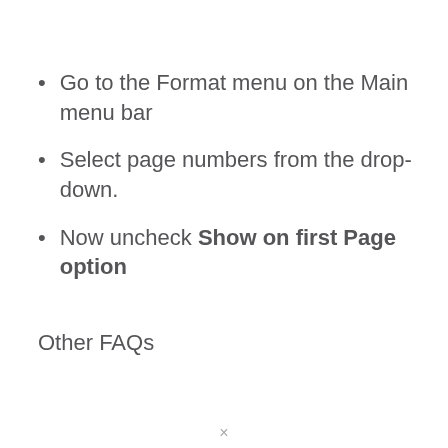Go to the Format menu on the Main menu bar
Select page numbers from the drop-down.
Now uncheck Show on first Page option
Other FAQs